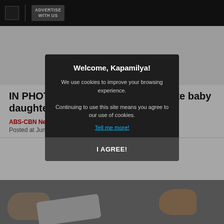ADVERTISE WITH US
IN PHOTOS: Meet Ethel Booba's cute baby daughter Michaela
ABS-CBN News
Posted at Jun
[Figure (photo): Photo of baby Michaela with hands and white cloth visible]
Welcome, Kapamilya!
We use cookies to improve your browsing experience.
Continuing to use this site means you agree to our use of cookies.
Tell me more!
I AGREE!